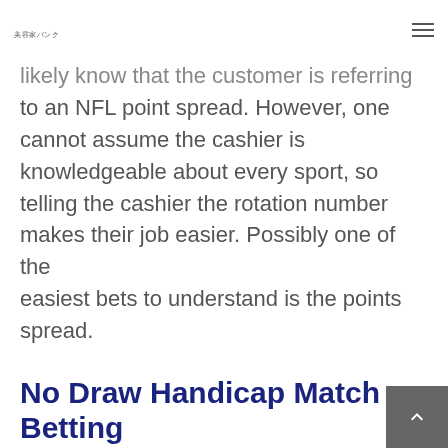美容家バンク
likely know that the customer is referring to an NFL point spread. However, one cannot assume the cashier is knowledgeable about every sport, so telling the cashier the rotation number makes their job easier. Possibly one of the easiest bets to understand is the points spread.
No Draw Handicap Match Betting
In case of a tie in goals scored, the be